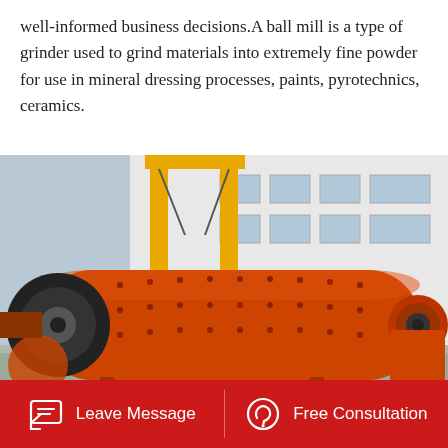well-informed business decisions.A ball mill is a type of grinder used to grind materials into extremely fine powder for use in mineral dressing processes, paints, pyrotechnics, ceramics.
[Figure (photo): A large orange industrial ball mill machine photographed outdoors at a manufacturing facility. A yellow gantry crane is visible in the background along with a white industrial building. The ball mill is a long cylindrical orange vessel mounted horizontally.]
Leave Message   Free Consultation